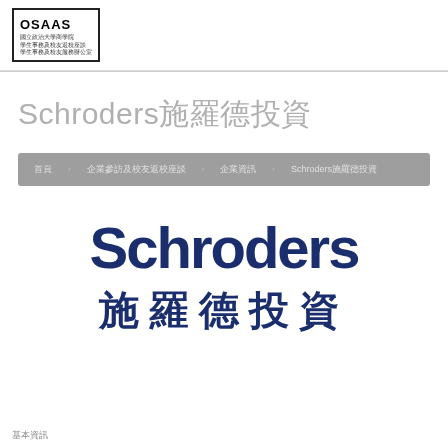OSAAS 國立政治大學商學院 學生事務及校友服務辦公室
Schroders施羅德投資
首頁 企業參訪及校友返校座談 企業資訊 Schroders施羅德投資
[Figure (logo): Schroders logo with English text 'Schroders' and Chinese text '施羅德投資' in dark navy blue]
基本資訊